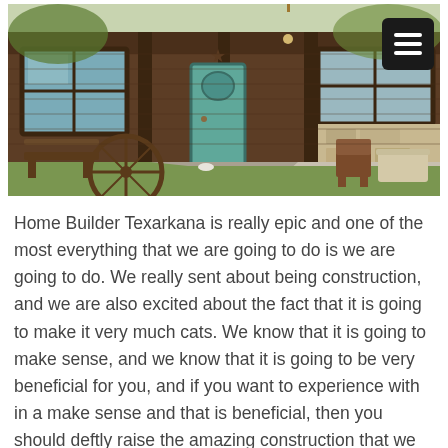[Figure (photo): Exterior photo of a ranch-style home with wood siding, a teal front door, a wagon wheel decoration, stone walkway leading to the entrance, bench on porch, and patio furniture. A dark hamburger menu button is visible in the top right corner.]
Home Builder Texarkana is really epic and one of the most everything that we are going to do is we are going to do. We really sent about being construction, and we are also excited about the fact that it is going to make it very much cats. We know that it is going to make sense, and we know that it is going to be very beneficial for you, and if you want to experience with in a make sense and that is beneficial, then you should deftly raise the amazing construction that we